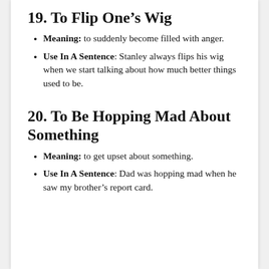19. To Flip One's Wig
Meaning: to suddenly become filled with anger.
Use In A Sentence: Stanley always flips his wig when we start talking about how much better things used to be.
20. To Be Hopping Mad About Something
Meaning: to get upset about something.
Use In A Sentence: Dad was hopping mad when he saw my brother's report card.